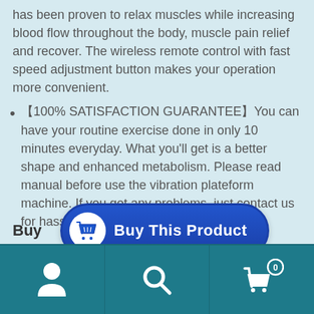has been proven to relax muscles while increasing blood flow throughout the body, muscle pain relief and recover. The wireless remote control with fast speed adjustment button makes your operation more convenient.
【100% SATISFACTION GUARANTEE】You can have your routine exercise done in only 10 minutes everyday. What you'll get is a better shape and enhanced metabolism. Please read manual before use the vibration plateform machine. If you got any problems, just contact us for hassle- free after-sale service.
Buy   Buy This Product
[Figure (screenshot): Bottom navigation bar with user/account icon, search icon, and shopping cart icon with badge showing 0]